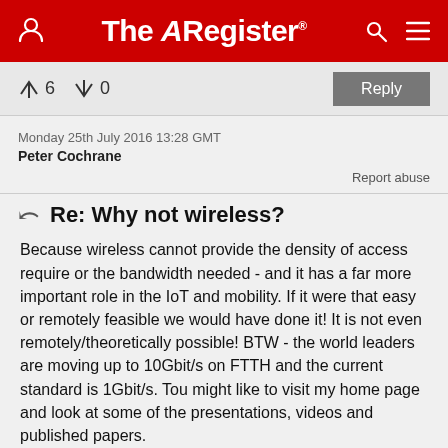The Register
↑6  ↓0
Reply
Monday 25th July 2016 13:28 GMT
Peter Cochrane
Report abuse
Re: Why not wireless?
Because wireless cannot provide the density of access require or the bandwidth needed - and it has a far more important role in the IoT and mobility. If it were that easy or remotely feasible we would have done it! It is not even remotely/theoretically possible! BTW - the world leaders are moving up to 10Gbit/s on FTTH and the current standard is 1Gbit/s. Tou might like to visit my home page and look at some of the presentations, videos and published papers.